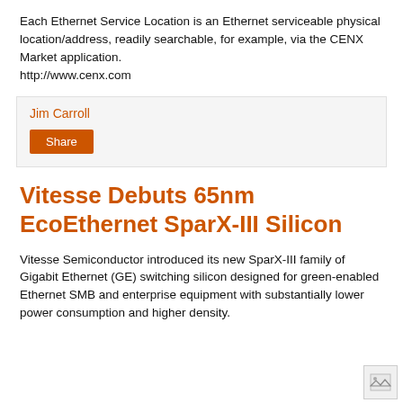Each Ethernet Service Location is an Ethernet serviceable physical location/address, readily searchable, for example, via the CENX Market application.
http://www.cenx.com
Jim Carroll
Share
Vitesse Debuts 65nm EcoEthernet SparX-III Silicon
Vitesse Semiconductor introduced its new SparX-III family of Gigabit Ethernet (GE) switching silicon designed for green-enabled Ethernet SMB and enterprise equipment with substantially lower power consumption and higher density.
[Figure (other): Small image icon in bottom right corner]